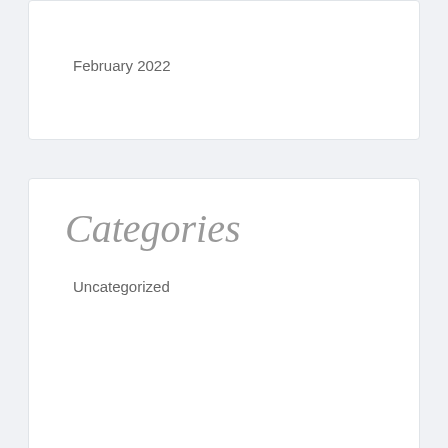February 2022
Categories
Uncategorized
Leather Jackets
how to use instagram for business
Sexy teens
cockroach pest control
rakyat4d
mega888
king855